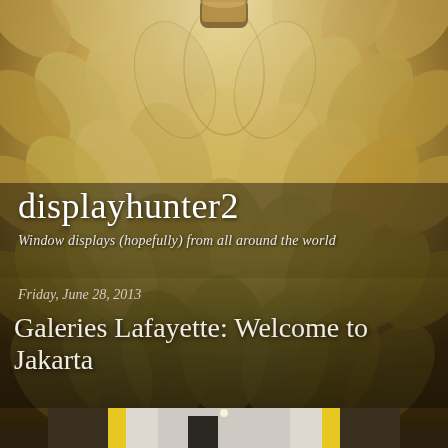[Figure (photo): Close-up photograph of overlapping cream/tan colored feather or petal-like shapes arranged in a scale pattern, with warm golden-brown lighting. A small cylindrical object visible at the top center.]
displayhunter2
Window displays (hopefully) from all around the world
Friday, June 28, 2013
Galeries Lafayette: Welcome to Jakarta
[Figure (photo): Interior photo of a store window display with bright yellow walls/door frame, a mannequin wearing a dark outfit with hat, decorative items hanging from ceiling, and merchandise on shelves in background.]